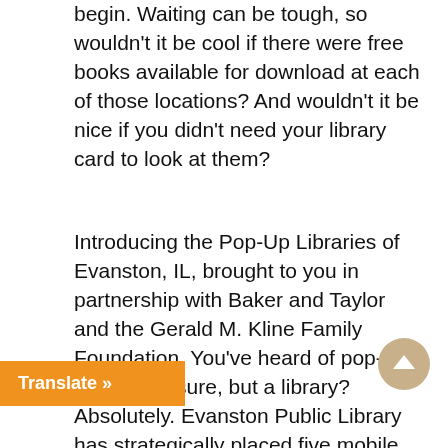begin. Waiting can be tough, so wouldn't it be cool if there were free books available for download at each of those locations? And wouldn't it be nice if you didn't need your library card to look at them?
Introducing the Pop-Up Libraries of Evanston, IL, brought to you in partnership with Baker and Taylor and the Gerald M. Kline Family Foundation. You've heard of pop-up stores, I'm sure, but a library? Absolutely. Evanston Public Library has strategically placed five mobile hotspots filled with free books around the city. If you see one of our signs, you'll be able to whip out your phone or device and instantly download a book for free of your choice. An array of hot titles have been loaded onto these hotspots, and there's no waiting. See something you like? You can have it for a week, no charge. Just log-in to the mobile hotspot by going to your wireless settings and tapping
Translate »